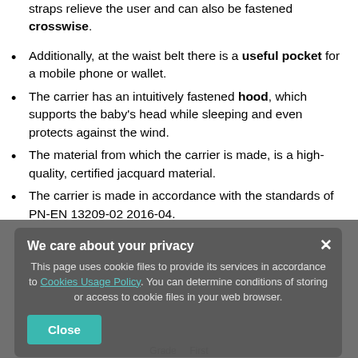...straps relieve the user and can also be fastened crosswise.
Additionally, at the waist belt there is a useful pocket for a mobile phone or wallet.
The carrier has an intuitively fastened hood, which supports the baby's head while sleeping and even protects against the wind.
The material from which the carrier is made, is a high-quality, certified jacquard material.
The carrier is made in accordance with the standards of PN-EN 13209-02 2016-04.
We care about your privacy
This page uses cookie files to provide its services in accordance to Cookies Usage Policy. You can determine conditions of storing or access to cookie files in your web browser.
Grade   First